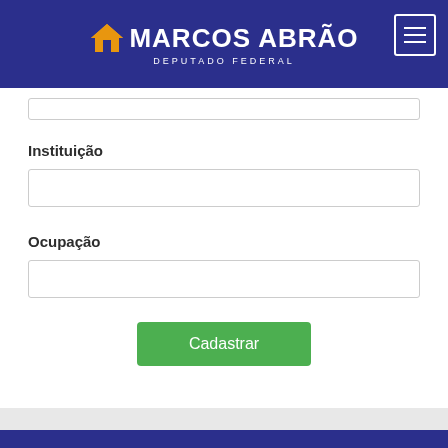MARCOS ABRÃO - DEPUTADO FEDERAL
Instituição
Ocupação
Cadastrar